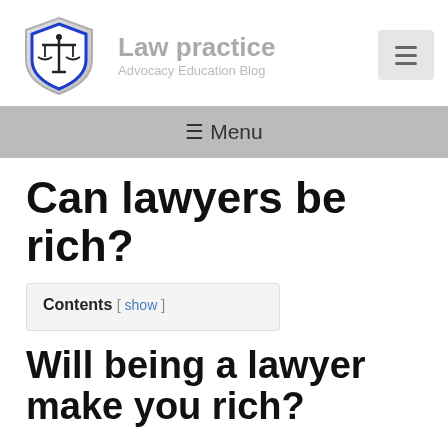[Figure (logo): Law scales of justice shield logo in blue and silver]
Law practice
Advocacy Education Blog
≡ Menu
Can lawyers be rich?
Contents [ show ]
Will being a lawyer make you rich?